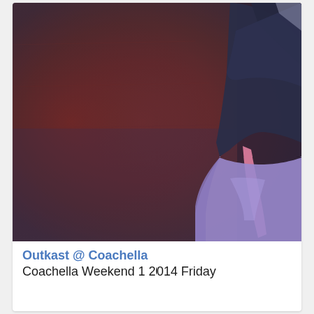[Figure (photo): A performer on stage at Coachella, wearing a dark hoodie and purple/lavender pants. The background is a reddish-brown haze from stage lighting. The figure is cropped, showing mostly the upper torso and midsection against the atmospheric backdrop.]
Outkast @ Coachella
Coachella Weekend 1 2014 Friday